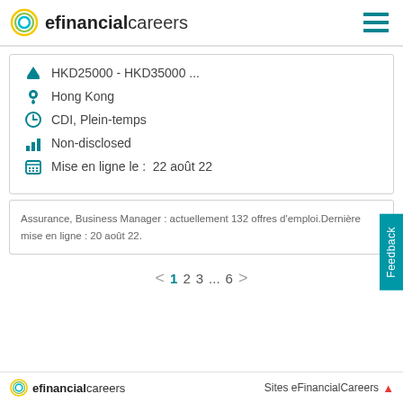efinancialcareers
HKD25000 - HKD35000 ...
Hong Kong
CDI, Plein-temps
Non-disclosed
Mise en ligne le :  22 août 22
Assurance, Business Manager : actuellement 132 offres d'emploi.Dernière mise en ligne : 20 août 22.
< 1 2 3 ... 6 >
efinancialcareers  Sites eFinancialCareers